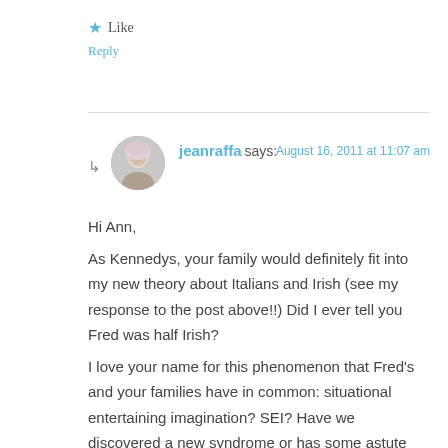★ Like
Reply
jeanraffa says:
August 16, 2011 at 11:07 am
Hi Ann,

As Kennedys, your family would definitely fit into my new theory about Italians and Irish (see my response to the post above!!) Did I ever tell you Fred was half Irish?

I love your name for this phenomenon that Fred's and your families have in common: situational entertaining imagination? SEI? Have we discovered a new syndrome or has some astute psychologist already given it another name? We may be on to